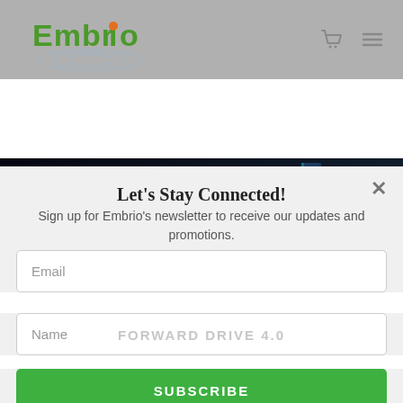[Figure (screenshot): Embrio Enterprises website screenshot showing navigation bar with Embrio logo, hero image of city skyline at night with overlaid badges reading 'Embrio Enterprises', 'Innovation', 'Convergence', 'Excellence', and a newsletter signup modal popup]
Let's Stay Connected!
Sign up for Embrio's newsletter to receive our updates and promotions.
Email
Name
FORWARD DRIVE 4.0
SUBSCRIBE
spotting the next wave of digitization